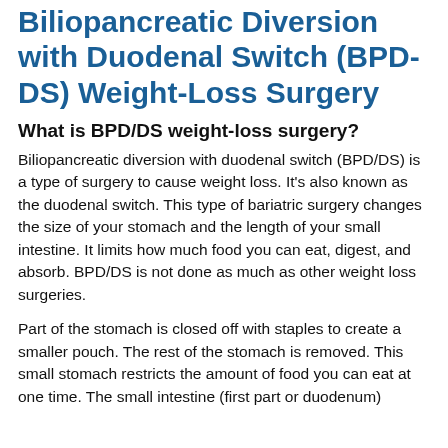Biliopancreatic Diversion with Duodenal Switch (BPD-DS) Weight-Loss Surgery
What is BPD/DS weight-loss surgery?
Biliopancreatic diversion with duodenal switch (BPD/DS) is a type of surgery to cause weight loss. It's also known as the duodenal switch. This type of bariatric surgery changes the size of your stomach and the length of your small intestine. It limits how much food you can eat, digest, and absorb. BPD/DS is not done as much as other weight loss surgeries.
Part of the stomach is closed off with staples to create a smaller pouch. The rest of the stomach is removed. This small stomach restricts the amount of food you can eat at one time. The small intestine (first part or duodenum)